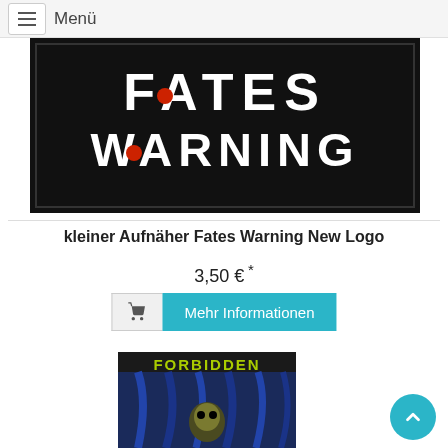Menü
[Figure (photo): Black embroidered patch with white text reading FATES WARNING and two red dot accents on a black background]
kleiner Aufnäher Fates Warning New Logo
3,50 € *
Mehr Informationen
[Figure (photo): Album or patch artwork showing FORBIDDEN text in green/yellow letters with a skull figure below on a dark background with blue drapery]